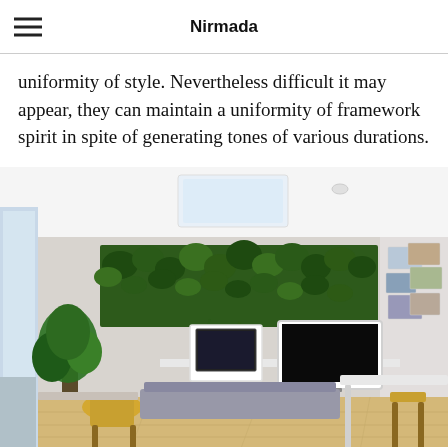Nirmada
uniformity of style. Nevertheless difficult it may appear, they can maintain a uniformity of framework spirit in spite of generating tones of various durations.
[Figure (photo): Modern living room interior with a green plant wall above a floating TV console, a mounted flat-screen TV, a desktop computer monitor on a wall-mounted shelf, indoor plants, a yellow wooden chair, a sofa, a white dining table, and framed photos on the right wall. Wood floor and white ceiling with a skylight panel.]